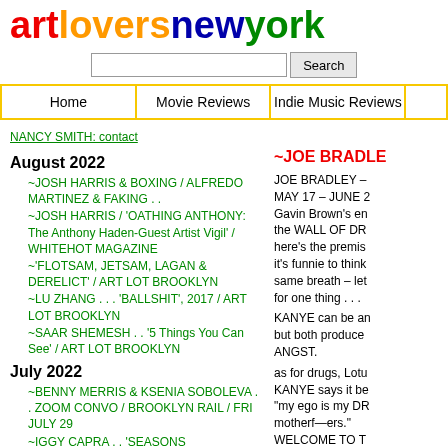artloversnewyork
Search
Home | Movie Reviews | Indie Music Reviews
NANCY SMITH: contact
August 2022
~JOSH HARRIS & BOXING / ALFREDO MARTINEZ & FAKING . .
~JOSH HARRIS / 'OATHING ANTHONY: The Anthony Haden-Guest Artist Vigil' / WHITEHOT MAGAZINE
~'FLOTSAM, JETSAM, LAGAN & DERELICT' / ART LOT BROOKLYN
~LU ZHANG . . . 'BALLSHIT', 2017 / ART LOT BROOKLYN
~SAAR SHEMESH . . '5 Things You Can See' / ART LOT BROOKLYN
July 2022
~BENNY MERRIS & KSENIA SOBOLEVA . . ZOOM CONVO / BROOKLYN RAIL / FRI JULY 29
~IGGY CAPRA . . 'SEASONS GREETINGS' / Et al / SAN FRANCISCO / thru SEPT 3
~'STEAL MY SUNSHINE' . . MERY GATES, BUSHWICK, BROOKLYN / SAT JULY 23
~BENNY MERRIS . . 'flash!' / HEROES / up thru JULY 30 . . now extended thru – SAT AUG 6 !!
~'PAINTING AS IS II' . . NATHALIE KARG / PIX FROM THE OPENING
June 2022
~JOE BRADLE
JOE BRADLEY – MAY 17 – JUNE 2 Gavin Brown's en the WALL OF DR here's the premis it's funnie to think same breath – let for one thing . . . KANYE can be an but both produce ANGST. as for drugs, Lotu KANYE says it be "my ego is my DR motherf—ers." WELCOME TO T KANYE WEST . .